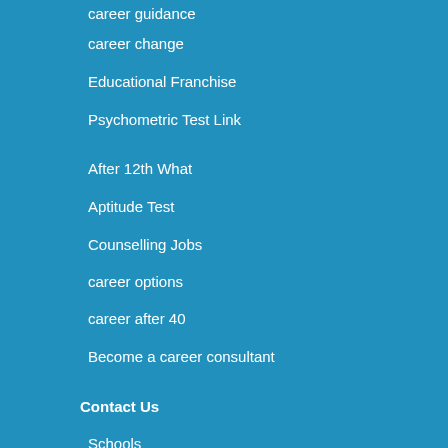career guidance
career change
Educational Franchise
Psychometric Test Link
After 12th What
Aptitude Test
Counselling Jobs
career options
career after 40
Become a career consultant
Contact Us
Schools
Parents & Students
Business Enquiries
Counselling Centres